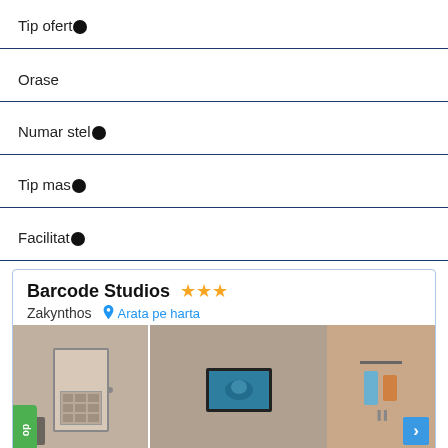Tip oferta
Orase
Numar stele
Tip masa
Facilitati
Barcode Studios ★★★
Zakynthos   Arata pe harta
[Figure (photo): Interior hotel room photo showing a door on the left, a TV screen on the wall in the middle, and hanging towels on the right.]